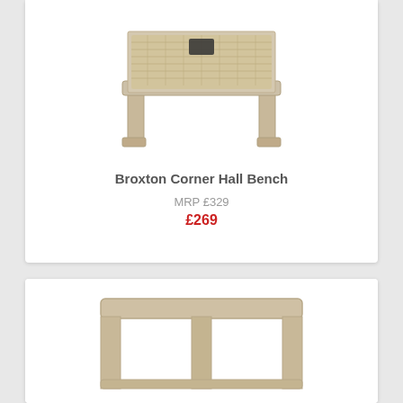[Figure (photo): Broxton Corner Hall Bench with wicker basket drawer and light oak wooden frame]
Broxton Corner Hall Bench
MRP £329
£269
[Figure (photo): Light oak wooden side table or bench with simple rectangular frame and central support leg, viewed from front]